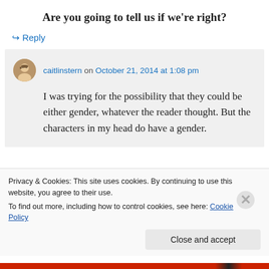Are you going to tell us if we're right?
↪ Reply
caitlinstern on October 21, 2014 at 1:08 pm
I was trying for the possibility that they could be either gender, whatever the reader thought. But the characters in my head do have a gender.
Privacy & Cookies: This site uses cookies. By continuing to use this website, you agree to their use. To find out more, including how to control cookies, see here: Cookie Policy